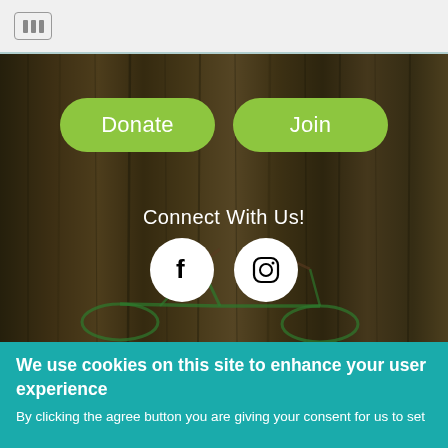[Figure (screenshot): Top navigation bar with a table/grid icon button in a rounded rectangle]
[Figure (photo): Hero section with wooden plank background and a green bicycle leaning against the wall. Contains two green pill-shaped buttons labeled Donate and Join, a Connect With Us! heading, and Facebook and Instagram social media icons.]
Connect With Us!
We use cookies on this site to enhance your user experience
By clicking the agree button you are giving your consent for us to set